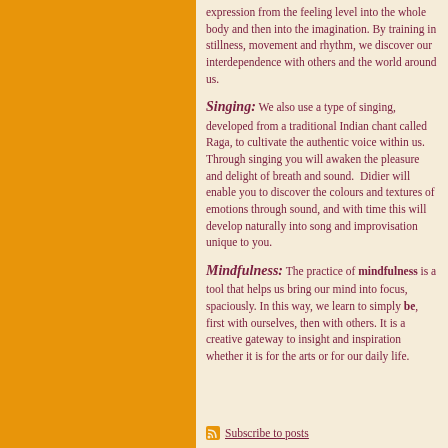expression from the feeling level into the whole body and then into the imagination. By training in stillness, movement and rhythm, we discover our interdependence with others and the world around us.
Singing: We also use a type of singing, developed from a traditional Indian chant called Raga, to cultivate the authentic voice within us. Through singing you will awaken the pleasure and delight of breath and sound. Didier will enable you to discover the colours and textures of emotions through sound, and with time this will develop naturally into song and improvisation unique to you.
Mindfulness: The practice of mindfulness is a tool that helps us bring our mind into focus, spaciously. In this way, we learn to simply be, first with ourselves, then with others. It is a creative gateway to insight and inspiration whether it is for the arts or for our daily life.
Subscribe to posts